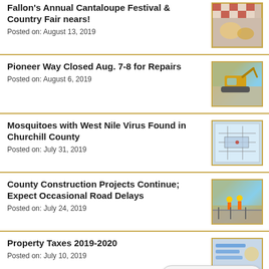Fallon's Annual Cantaloupe Festival & Country Fair nears!
Posted on: August 13, 2019
[Figure (photo): Red and white checkered tablecloth with festival food items]
Pioneer Way Closed Aug. 7-8 for Repairs
Posted on: August 6, 2019
[Figure (photo): Yellow excavator/backhoe construction equipment]
Mosquitoes with West Nile Virus Found in Churchill County
Posted on: July 31, 2019
[Figure (map): Map diagram showing Churchill County area]
County Construction Projects Continue; Expect Occasional Road Delays
Posted on: July 24, 2019
[Figure (photo): Construction workers at a road construction site]
Property Taxes 2019-2020
Posted on: July 10, 2019
[Figure (photo): Property tax related items, partially visible]